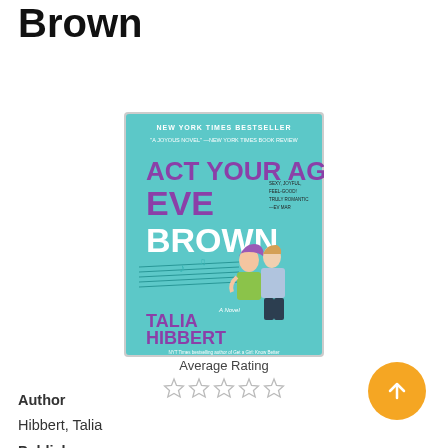Brown
[Figure (photo): Book cover of 'Act Your Age, Eve Brown' by Talia Hibbert. Teal/turquoise background with purple and white title text. Two illustrated figures embracing. Labeled as New York Times Bestseller.]
Average Rating
★★★★★ (5 empty stars)
Author
Hibbert, Talia
Publisher
Varies, see individual formats and editions
Publication Date
Varies, see individual formats and editions
Language